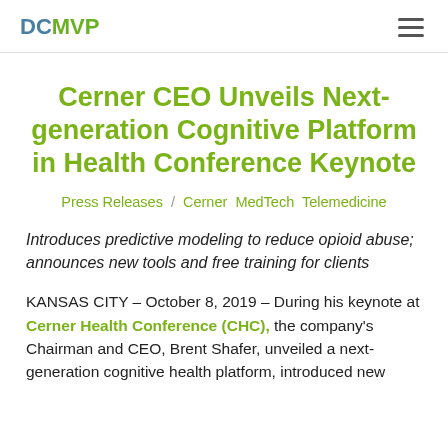DCMVP
Cerner CEO Unveils Next-generation Cognitive Platform in Health Conference Keynote
Press Releases / Cerner MedTech Telemedicine
Introduces predictive modeling to reduce opioid abuse; announces new tools and free training for clients
KANSAS CITY – October 8, 2019 – During his keynote at Cerner Health Conference (CHC), the company's Chairman and CEO, Brent Shafer, unveiled a next-generation cognitive health platform, introduced new